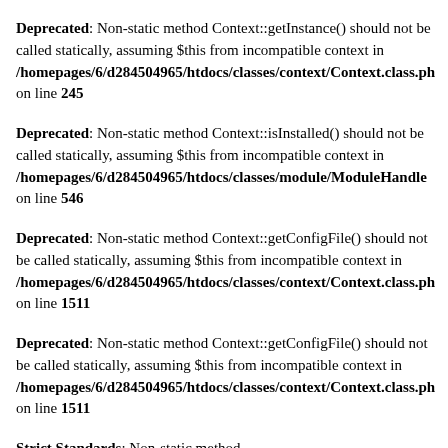Deprecated: Non-static method Context::getInstance() should not be called statically, assuming $this from incompatible context in /homepages/6/d284504965/htdocs/classes/context/Context.class.ph on line 245
Deprecated: Non-static method Context::isInstalled() should not be called statically, assuming $this from incompatible context in /homepages/6/d284504965/htdocs/classes/module/ModuleHandle on line 546
Deprecated: Non-static method Context::getConfigFile() should not be called statically, assuming $this from incompatible context in /homepages/6/d284504965/htdocs/classes/context/Context.class.ph on line 1511
Deprecated: Non-static method Context::getConfigFile() should not be called statically, assuming $this from incompatible context in /homepages/6/d284504965/htdocs/classes/context/Context.class.ph on line 1511
Strict Standards: Non-static method ModuleHandler::getModuleInstance() should not be called